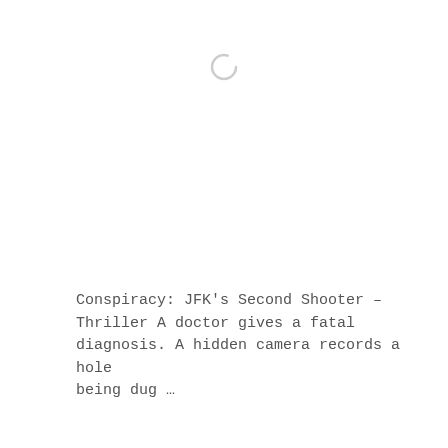[Figure (other): Loading spinner icon — a circular spinner indicator shown at the top center of the page]
Conspiracy: JFK's Second Shooter – Thriller A doctor gives a fatal diagnosis. A hidden camera records a hole being dug …
Read More